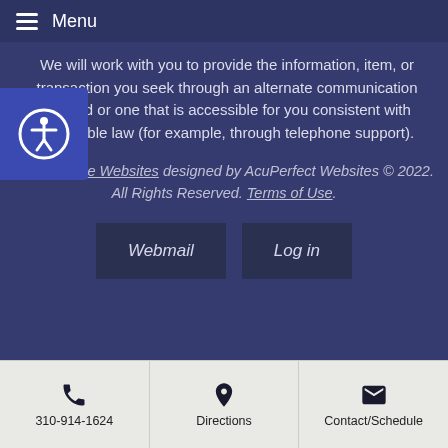Menu
We will work with you to provide the information, item, or transaction you seek through an alternate communication method or one that is accessible for you consistent with applicable law (for example, through telephone support).
Acupuncture Websites designed by AcuPerfect Websites © 2022. All Rights Reserved. Terms of Use.
Webmail
Log in
310-914-1624  Directions  Contact/Schedule